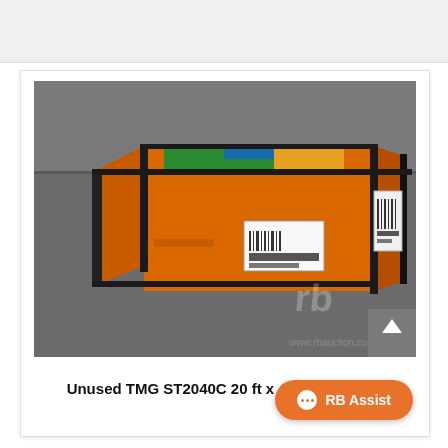[Figure (photo): Orange shipping/storage container (TMG ST2040C) sitting on asphalt pavement, viewed from a slight overhead angle. The container has orange sides with dark corner posts, and a label/sticker on the side. There is a watermark 'rb' in the lower right area of the photo.]
Unused TMG ST2040C 20 ft x 40 ft Container